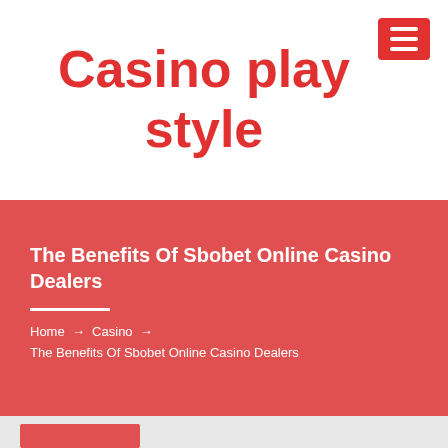Casino play style
The Benefits Of Sbobet Online Casino Dealers
Home → Casino → The Benefits Of Sbobet Online Casino Dealers